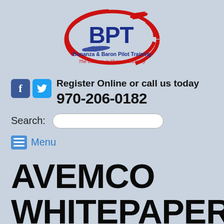[Figure (logo): BPT - Bonanza & Baron Pilot Training logo with red swoosh and two aircraft silhouettes, tagline: The Ultimate in Flying Proficiency]
Register Online or call us today
970-206-0182
Search:
Menu
AVEMCO WHITEPAPER